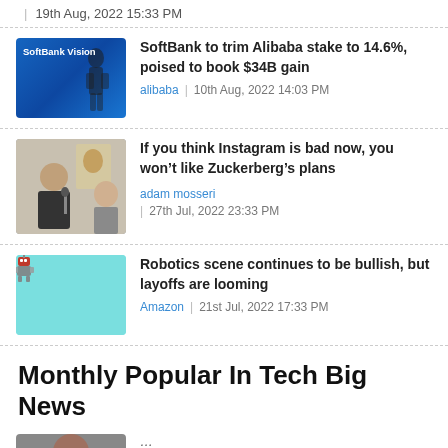19th Aug, 2022 15:33 PM
SoftBank to trim Alibaba stake to 14.6%, poised to book $34B gain | alibaba | 10th Aug, 2022 14:03 PM
If you think Instagram is bad now, you won’t like Zuckerberg’s plans | adam mosseri | 27th Jul, 2022 23:33 PM
Robotics scene continues to be bullish, but layoffs are looming | Amazon | 21st Jul, 2022 17:33 PM
Monthly Popular In Tech Big News
...